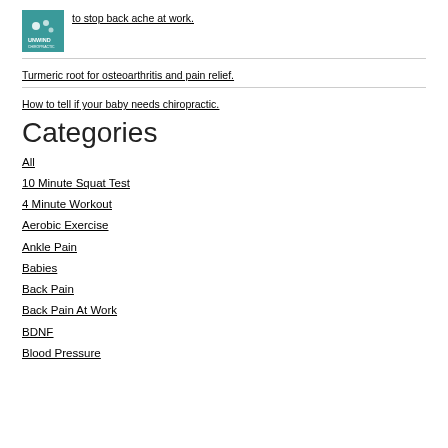to stop back ache at work.
Turmeric root for osteoarthritis and pain relief.
How to tell if your baby needs chiropractic.
Categories
All
10 Minute Squat Test
4 Minute Workout
Aerobic Exercise
Ankle Pain
Babies
Back Pain
Back Pain At Work
BDNF
Blood Pressure